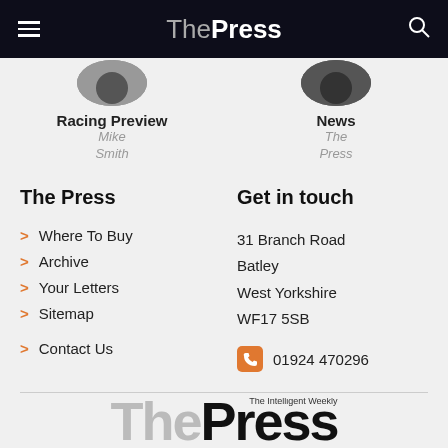The Press
Racing Preview
Mike Smith
News
The Press
The Press
Where To Buy
Archive
Your Letters
Sitemap
Contact Us
Get in touch
31 Branch Road
Batley
West Yorkshire
WF17 5SB
01924 470296
The Intelligent Weekly
The Press